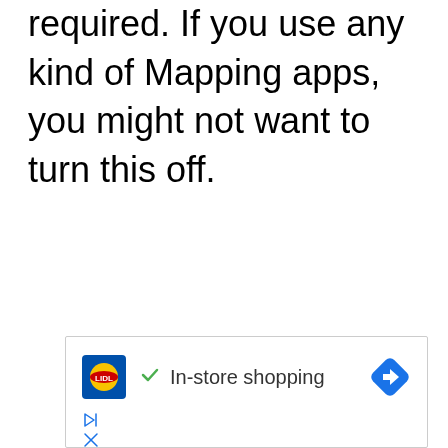required. If you use any kind of Mapping apps, you might not want to turn this off.
[Figure (screenshot): Advertisement banner showing Lidl logo with checkmark and 'In-store shopping' text, a blue navigation arrow icon, and ad control icons (play/skip and close).]